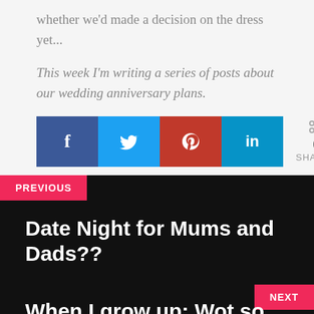whether we'd made a decision on the dress yet...
This week I'm writing a series of posts about our wedding anniversary plans.
[Figure (infographic): Social share buttons: Facebook (dark blue), Twitter (light blue), Pinterest (red), LinkedIn (teal), with share count showing 0 SHARES]
PREVIOUS
Date Night for Mums and Dads??
NEXT
When I grow up: Wot so Funee?